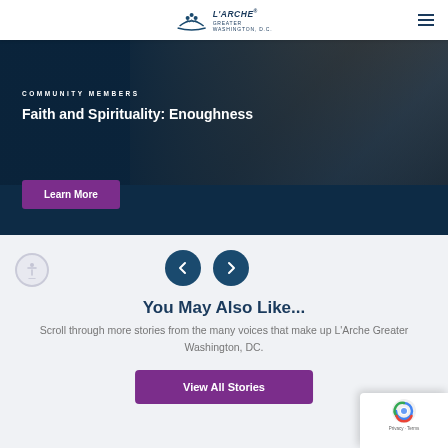L'ARCHE GREATER WASHINGTON, D.C.
[Figure (screenshot): Hero banner with dark navy background showing community member content. Text overlay reads 'COMMUNITY MEMBERS' and 'Faith and Spirituality: Enoughness' with a purple 'Learn More' button.]
COMMUNITY MEMBERS
Faith and Spirituality: Enoughness
Learn More
[Figure (other): Navigation arrows: left arrow and right arrow circular dark blue buttons for scrolling through stories. An accessibility icon is visible on the left.]
You May Also Like...
Scroll through more stories from the many voices that make up L'Arche Greater Washington, DC.
View All Stories